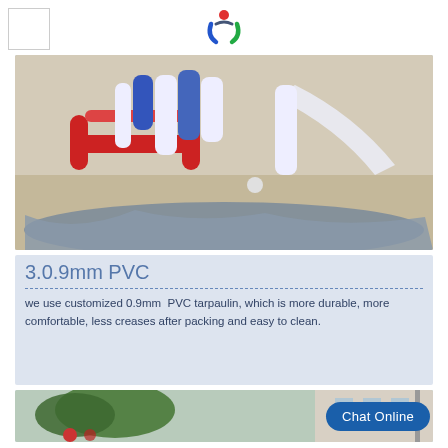[Figure (logo): Company logo with colorful J-shaped icon and empty white square placeholder box]
[Figure (photo): Inflatable water play equipment including red, white, and blue inflatable structures on a tarp on concrete ground]
3.0.9mm PVC
we use customized 0.9mm PVC tarpaulin, which is more durable, more comfortable, less creases after packing and easy to clean.
[Figure (photo): Outdoor scene with trees, inflatable product partially visible, and building in background; Chat Online button overlay]
Chat Online